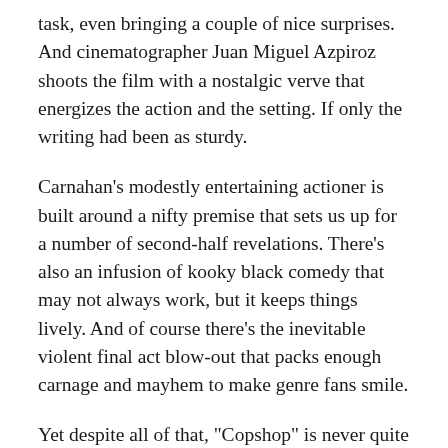task, even bringing a couple of nice surprises. And cinematographer Juan Miguel Azpiroz shoots the film with a nostalgic verve that energizes the action and the setting. If only the writing had been as sturdy.
Carnahan's modestly entertaining actioner is built around a nifty premise that sets us up for a number of second-half revelations. There's also an infusion of kooky black comedy that may not always work, but it keeps things lively. And of course there's the inevitable violent final act blow-out that packs enough carnage and mayhem to make genre fans smile.
Yet despite all of that, "Copshop" is never quite as suspenseful or engaging as it needs to be. And while the cast does a good job selling their characters, too many are your standard cookie-cutter variety and everyone speaks in the exact same foul-tongued pseudo tough guy vernacular found in many of Carnahan's movies. And while the majority of the performances are on point, everyone ends up constricted by their character types.